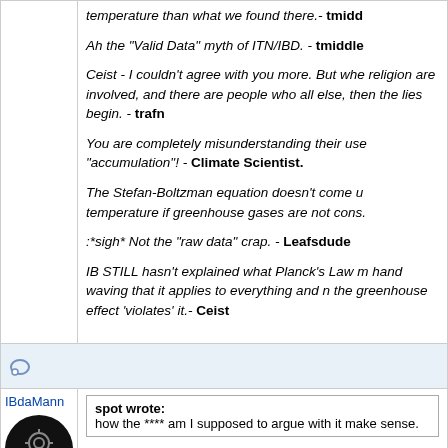temperature than what we found there.- tmiddleton
Ah the "Valid Data" myth of ITN/IBD. - tmiddle
Ceist - I couldn't agree with you more. But whe religion are involved, and there are people who all else, then the lies begin. - trafn
You are completely misunderstanding their use "accumulation"! - Climate Scientist.
The Stefan-Boltzman equation doesn't come u temperature if greenhouse gases are not cons.
:*sigh* Not the "raw data" crap. - Leafsdude
IB STILL hasn't explained what Planck's Law m hand waving that it applies to everything and n the greenhouse effect 'violates' it.- Ceist
IBdaMann
spot wrote:
how the **** am I supposed to argue with it make sense.